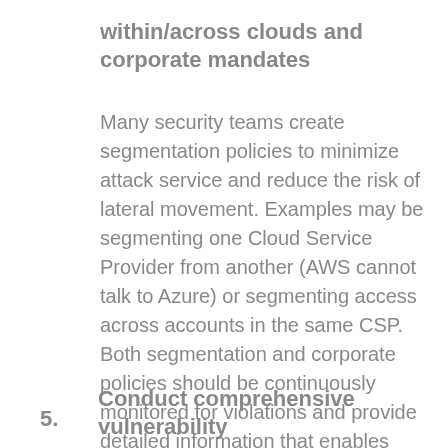within/across clouds and corporate mandates
Many security teams create segmentation policies to minimize attack service and reduce the risk of lateral movement. Examples may be segmenting one Cloud Service Provider from another (AWS cannot talk to Azure) or segmenting access across accounts in the same CSP. Both segmentation and corporate policies should be continuously monitored for violations and provide detailed information that enables rapid remediation.
5. Conduct comprehensive vulnerability